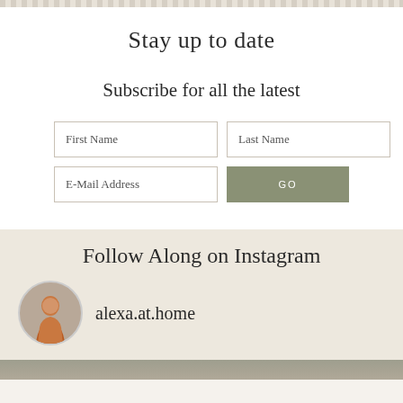Stay up to date
Subscribe for all the latest
[Figure (other): Newsletter subscription form with First Name, Last Name, E-Mail Address fields and a GO button]
Follow Along on Instagram
alexa.at.home
[Figure (photo): Bottom strip showing partial Instagram photo thumbnails]